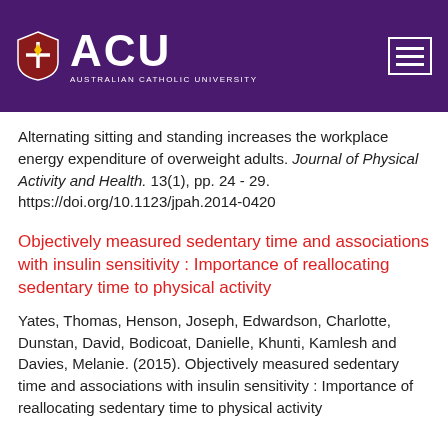ACU - Australian Catholic University
Alternating sitting and standing increases the workplace energy expenditure of overweight adults. Journal of Physical Activity and Health. 13(1), pp. 24 - 29. https://doi.org/10.1123/jpah.2014-0420
Objectively measured sedentary time and associations with insulin sensitivity : Importance of reallocating sedentary time to physical activity
Yates, Thomas, Henson, Joseph, Edwardson, Charlotte, Dunstan, David, Bodicoat, Danielle, Khunti, Kamlesh and Davies, Melanie. (2015). Objectively measured sedentary time and associations with insulin sensitivity : Importance of reallocating sedentary time to physical activity